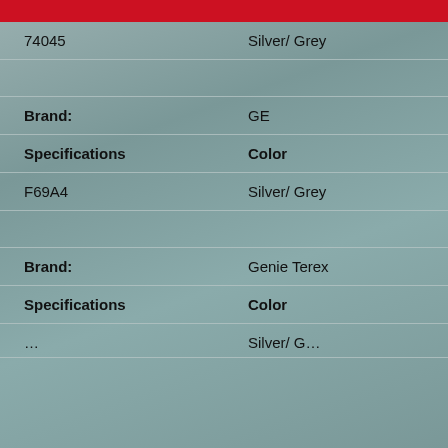| 74045 | Silver/ Grey |
|  |  |
| Brand: | GE |
| Specifications | Color |
| F69A4 | Silver/ Grey |
|  |  |
| Brand: | Genie Terex |
| Specifications | Color |
| ... | Silver/ G... |